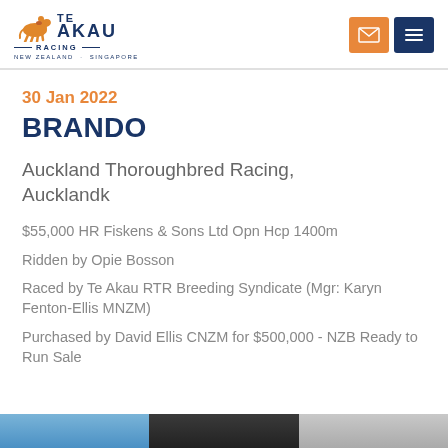[Figure (logo): Te Akau Racing logo with horse and jockey icon, text reading TE AKAU RACING NEW ZEALAND · SINGAPORE]
[Figure (other): Navigation icons: orange mail envelope button and dark blue hamburger menu button]
30 Jan 2022
BRANDO
Auckland Thoroughbred Racing, Aucklandk
$55,000 HR Fiskens & Sons Ltd Opn Hcp 1400m
Ridden by Opie Bosson
Raced by Te Akau RTR Breeding Syndicate (Mgr: Karyn Fenton-Ellis MNZM)
Purchased by David Ellis CNZM for $500,000 - NZB Ready to Run Sale
[Figure (photo): Strip of three partial photos at the bottom of the page]